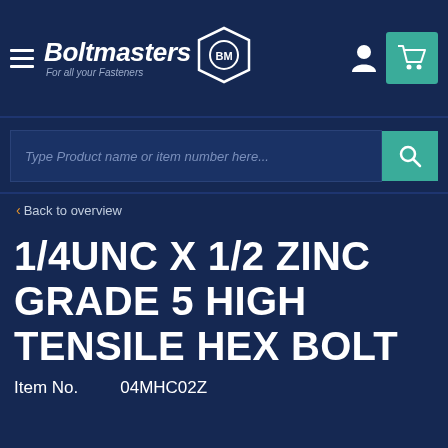Boltmasters BM — For all your Fasteners
Type Product name or item number here...
< Back to overview
1/4UNC X 1/2 ZINC GRADE 5 HIGH TENSILE HEX BOLT
Item No.    04MHC02Z